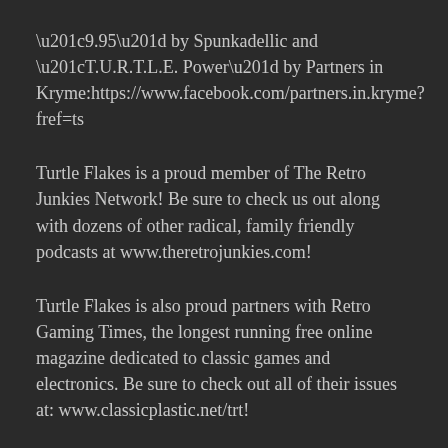“9.95” by Spunkadellic and “T.U.R.T.L.E. Power” by Partners in Kryme:https://www.facebook.com/partners.in.kryme?fref=ts
Turtle Flakes is a proud member of The Retro Junkies Network! Be sure to check us out along with dozens of other radical, family friendly podcasts at www.theretrojunkies.com!
Turtle Flakes is also proud partners with Retro Gaming Times, the longest running free online magazine dedicated to classic games and electronics. Be sure to check out all of their issues at: www.classicplastic.net/trt!
And, of course, dudes and dudettes, check out our main Turtle Lair for all of our episodes at